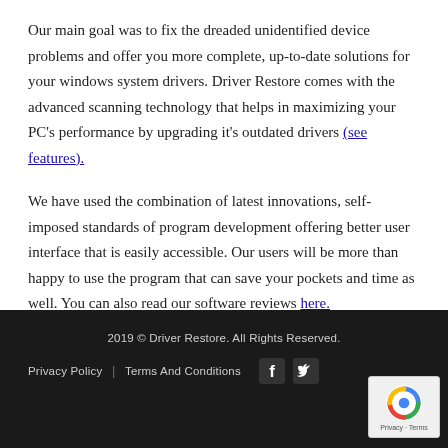Our main goal was to fix the dreaded unidentified device problems and offer you more complete, up-to-date solutions for your windows system drivers. Driver Restore comes with the advanced scanning technology that helps in maximizing your PC's performance by upgrading it's outdated drivers (see features).
We have used the combination of latest innovations, self-imposed standards of program development offering better user interface that is easily accessible. Our users will be more than happy to use the program that can save your pockets and time as well. You can also read our software reviews here.
2019 © Driver Restore. All Rights Reserved. | Privacy Policy | Terms And Conditions